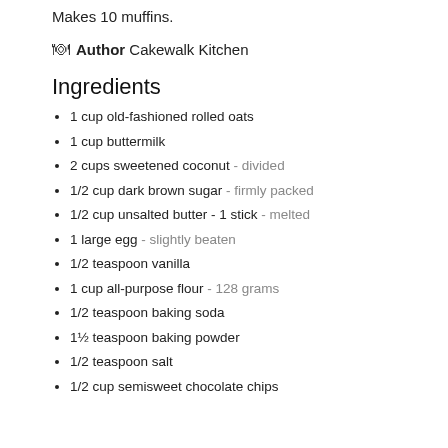Makes 10 muffins.
Author Cakewalk Kitchen
Ingredients
1 cup old-fashioned rolled oats
1 cup buttermilk
2 cups sweetened coconut - divided
1/2 cup dark brown sugar - firmly packed
1/2 cup unsalted butter - 1 stick - melted
1 large egg - slightly beaten
1/2 teaspoon vanilla
1 cup all-purpose flour - 128 grams
1/2 teaspoon baking soda
1½ teaspoon baking powder
1/2 teaspoon salt
1/2 cup semisweet chocolate chips